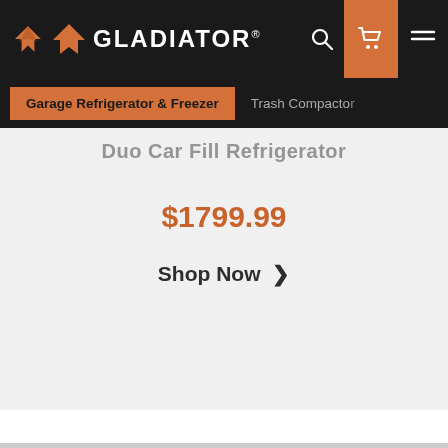GLADIATOR
Garage Refrigerator & Freezer
Trash Compactor
Duo Car Fill Refrigerator
$1799.99
Shop Now